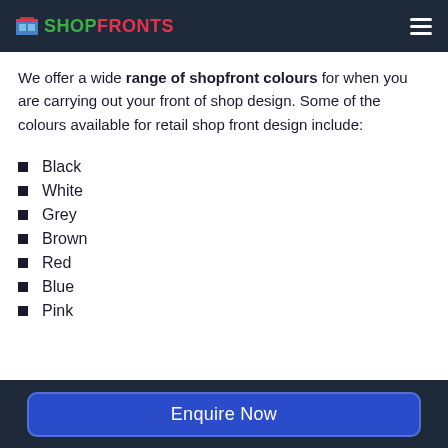SHOPFRONTS
We offer a wide range of shopfront colours for when you are carrying out your front of shop design. Some of the colours available for retail shop front design include:
Black
White
Grey
Brown
Red
Blue
Pink
Enquire Now